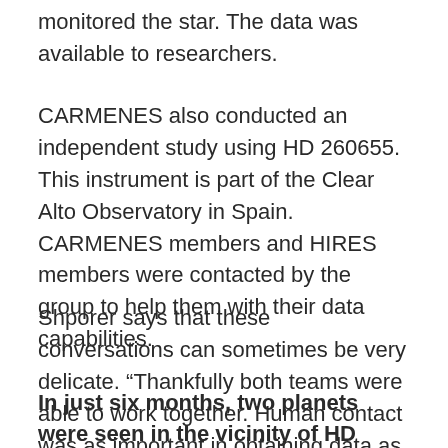monitored the star. The data was available to researchers.
CARMENES also conducted an independent study using HD 260655. This instrument is part of the Clear Alto Observatory in Spain. CARMENES members and HIRES members were contacted by the group to help them with their data capabilities.
Shporer says that these conversations can sometimes be very delicate. “Thankfully both teams were able to work together. Human contact was as important in obtaining data as actual observations.
In just six months, two planets were seen in the vicinity of HD 260655.